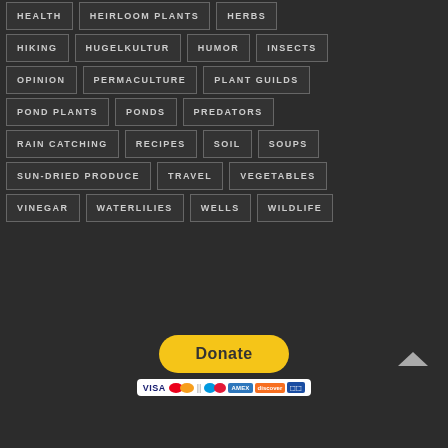HEALTH
HEIRLOOM PLANTS
HERBS
HIKING
HUGELKULTUR
HUMOR
INSECTS
OPINION
PERMACULTURE
PLANT GUILDS
POND PLANTS
PONDS
PREDATORS
RAIN CATCHING
RECIPES
SOIL
SOUPS
SUN-DRIED PRODUCE
TRAVEL
VEGETABLES
VINEGAR
WATERLILIES
WELLS
WILDLIFE
[Figure (other): PayPal Donate button with payment card icons (Visa, Mastercard, American Express, Discover, and others)]